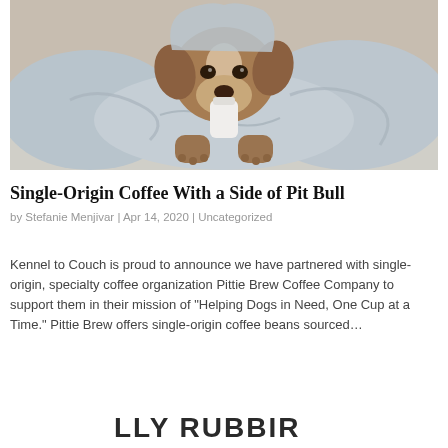[Figure (photo): A brown and white pit bull dog wrapped in a light blue/grey blanket, lying down and chewing or holding a white cup or bottle, photographed on a neutral background.]
Single-Origin Coffee With a Side of Pit Bull
by Stefanie Menjivar | Apr 14, 2020 | Uncategorized
Kennel to Couch is proud to announce we have partnered with single-origin, specialty coffee organization Pittie Brew Coffee Company to support them in their mission of “Helping Dogs in Need, One Cup at a Time.” Pittie Brew offers single-origin coffee beans sourced…
[Figure (logo): Partial logo text visible at bottom: 'LLY RUBBIN...' in large bold uppercase letters]